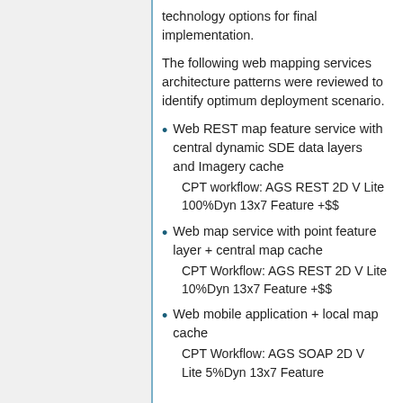technology options for final implementation.
The following web mapping services architecture patterns were reviewed to identify optimum deployment scenario.
Web REST map feature service with central dynamic SDE data layers and Imagery cache
CPT workflow: AGS REST 2D V Lite 100%Dyn 13x7 Feature +$$
Web map service with point feature layer + central map cache
CPT Workflow: AGS REST 2D V Lite 10%Dyn 13x7 Feature +$$
Web mobile application + local map cache
CPT Workflow: AGS SOAP 2D V Lite 5%Dyn 13x7 Feature